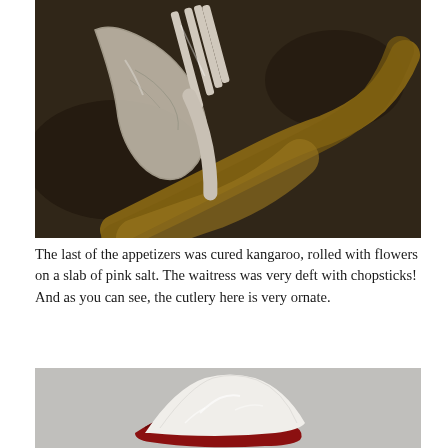[Figure (photo): Close-up photo of ornate silver cutlery (fork and spoon) with decorative engraving, resting on a dark surface with what appears to be a piece of wood or dried material.]
The last of the appetizers was cured kangaroo, rolled with flowers on a slab of pink salt. The waitress was very deft with chopsticks! And as you can see, the cutlery here is very ornate.
[Figure (photo): Photo of a dessert or food item with a red element (possibly beetroot or red sauce) topped with a mound of white powdery substance (possibly grated cheese or sugar), on a light gray background.]